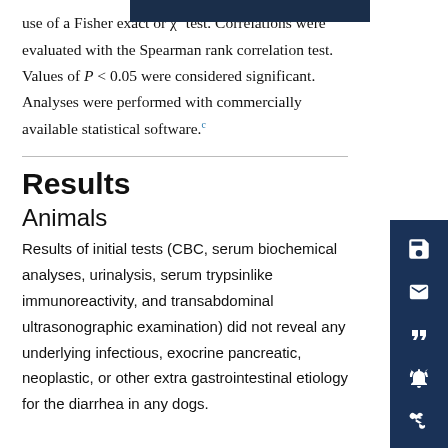use of a Fisher exact or χ² test. Correlations were evaluated with the Spearman rank correlation test. Values of P < 0.05 were considered significant. Analyses were performed with commercially available statistical software.c
Results
Animals
Results of initial tests (CBC, serum biochemical analyses, urinalysis, serum trypsinlike immunoreactivity, and transabdominal ultrasonographic examination) did not reveal any underlying infectious, exocrine pancreatic, neoplastic, or other extra gastrointestinal etiology for the diarrhea in any dogs.